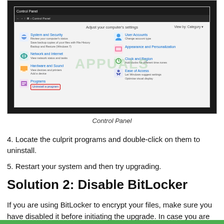[Figure (screenshot): Windows Control Panel screenshot showing system settings categories including System and Security, Network and Internet, Hardware and Sound, Programs (with 'Uninstall a program' highlighted in red box), User Accounts, Appearance and Personalization, Clock and Region, and Ease of Access.]
Control Panel
4. Locate the culprit programs and double-click on them to uninstall.
5. Restart your system and then try upgrading.
Solution 2: Disable BitLocker
If you are using BitLocker to encrypt your files, make sure you have disabled it before initiating the upgrade. In case you are using a third-party application instead of BitLocker, do the same